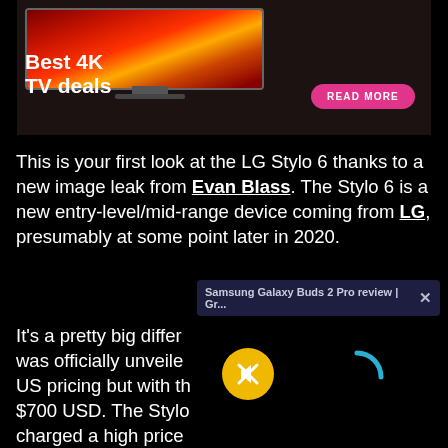[Figure (screenshot): Advertisement banner for Best 4K TV deals showing a TV displaying a red flower/gerbera daisy, with text 'Best 4K TV deals' and a pink 'READ MORE' button]
This is your first look at the LG Stylo 6 thanks to a new image leak from Evan Blass. The Stylo 6 is a new entry-level/mid-range device coming from LG, presumably at some point later in 2020.
Samsung Galaxy Buds 2 Pro review | Gr...  ×
It's a pretty big differ... was officially unveile... US pricing but with th... $700 USD. The Stylo ... charged a high price ... around $230 when it